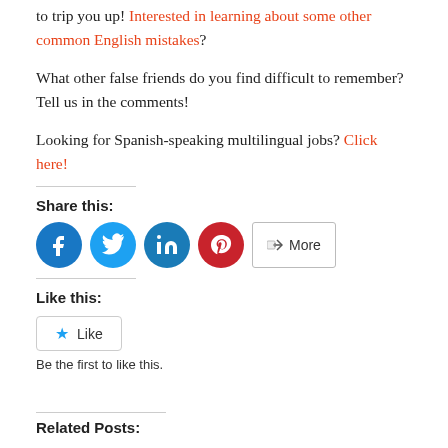to trip you up! Interested in learning about some other common English mistakes?
What other false friends do you find difficult to remember? Tell us in the comments!
Looking for Spanish-speaking multilingual jobs? Click here!
Share this:
[Figure (infographic): Social media share buttons: Facebook (blue circle), Twitter (light blue circle), LinkedIn (blue circle), Pinterest (red circle), and a More button]
Like this:
[Figure (infographic): Like button with star icon]
Be the first to like this.
Related Posts: